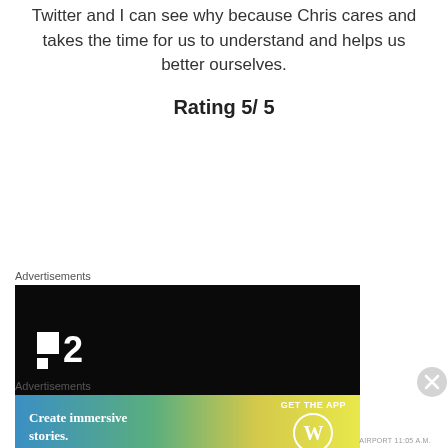Twitter and I can see why because Chris cares and takes the time for us to understand and helps us better ourselves.
Rating 5/ 5
Advertisements
[Figure (logo): Black advertisement box with white Plan2 logo (two squares and number 2)]
Advertisements
[Figure (illustration): Colorful gradient advertisement banner: Create immersive stories. GET THE APP with WordPress logo]